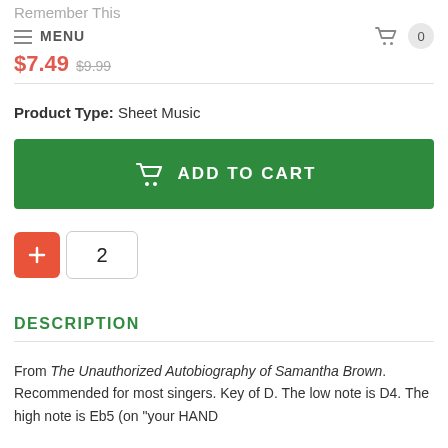Remember This
$7.49  $9.99
Product Type: Sheet Music
[Figure (screenshot): Green ADD TO CART button with basket icon]
[Figure (screenshot): Plus button (orange) and quantity input showing 2]
DESCRIPTION
From The Unauthorized Autobiography of Samantha Brown. Recommended for most singers. Key of D. The low note is D4. The high note is Eb5 (on "your HAND